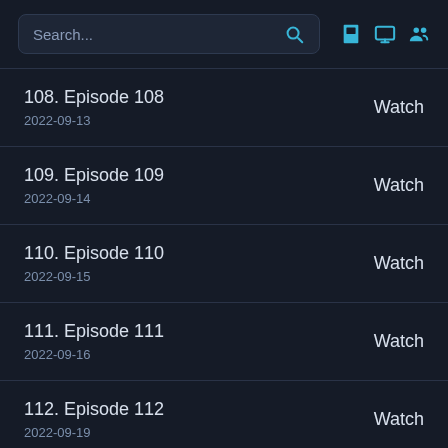Search...
108. Episode 108 | 2022-09-13 | Watch
109. Episode 109 | 2022-09-14 | Watch
110. Episode 110 | 2022-09-15 | Watch
111. Episode 111 | 2022-09-16 | Watch
112. Episode 112 | 2022-09-19 | Watch